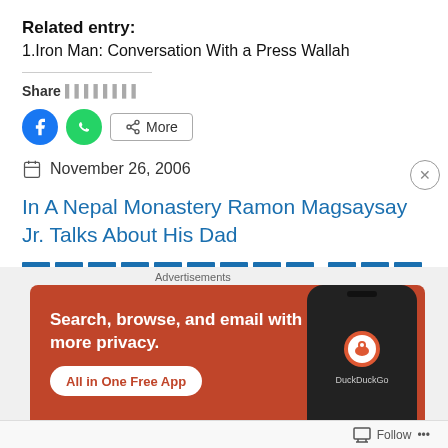Related entry:
1.Iron Man: Conversation With a Press Wallah
Share [share icons]
[Figure (screenshot): Share buttons: Facebook (blue circle), WhatsApp (green circle), More button]
November 26, 2006
In A Nepal Monastery Ramon Magsaysay Jr. Talks About His Dad
[Figure (screenshot): Tag blocks in blue color]
[Figure (screenshot): Advertisement banner for DuckDuckGo: Search, browse, and email with more privacy. All in One Free App]
Follow ...